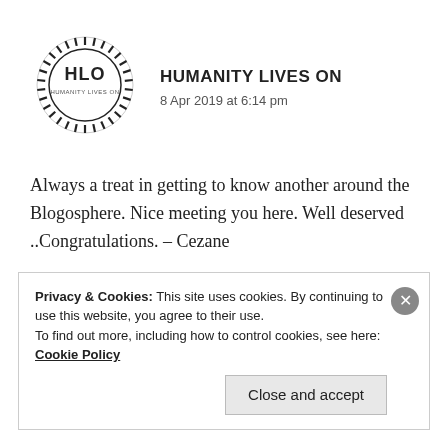[Figure (logo): HLO Humanity Lives On circular logo with spiky border]
HUMANITY LIVES ON
8 Apr 2019 at 6:14 pm
Always a treat in getting to know another around the Blogosphere. Nice meeting you here. Well deserved ..Congratulations. – Cezane
Liked by 3 people
Privacy & Cookies: This site uses cookies. By continuing to use this website, you agree to their use.
To find out more, including how to control cookies, see here: Cookie Policy
Close and accept